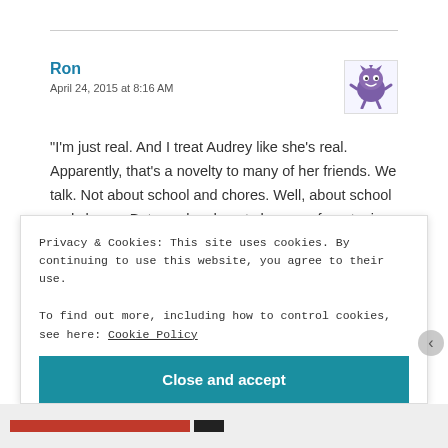Ron
April 24, 2015 at 8:16 AM
[Figure (illustration): Purple cartoon monster avatar icon]
“I’m just real. And I treat Audrey like she’s real. Apparently, that’s a novelty to many of her friends. We talk. Not about school and chores. Well, about school and chores. But we also do not shy away from topics like drugs, alcohol, and sex. And I give her enough
Privacy & Cookies: This site uses cookies. By continuing to use this website, you agree to their use.
To find out more, including how to control cookies, see here: Cookie Policy
Close and accept